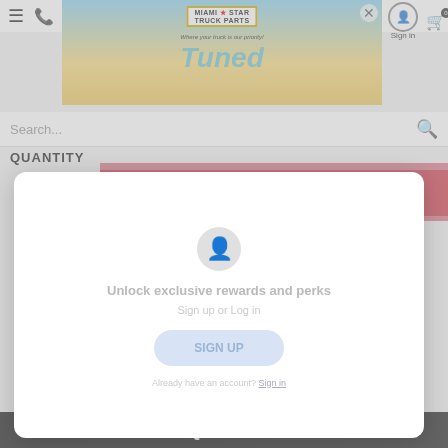[Figure (screenshot): Miami Star Truck Parts website banner with cartoon character, logo, and 'Stay Tuned' promotional banner over a beach scene]
Search...
QUANTITY
[Figure (screenshot): Get 5% OFF discount banner overlay in red/pink, overlapping the ADD TO CART button]
ADD TO CART
[Figure (screenshot): White modal popup showing loyalty/rewards sign-up dialog with avatar icon, 'Unlock exclusive rewards and perks', 'Sign up or Log in', SIGN UP button, and 'Already have an account? Sign in' link]
Unlock exclusive rewards and perks
Sign up or Log in
SIGN UP
Already have an account? Sign in
HAVE QUESTIONS?